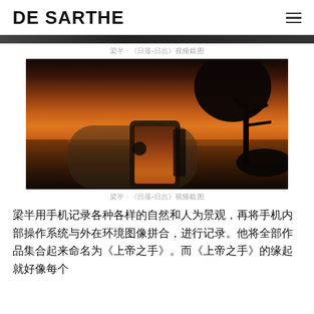DE SARTHE
[Figure (photo): Partial top strip of a dark image, cropped at top of viewport]
梁半 · 《日落-日出》视频截图
[Figure (photo): A hand holding a smartphone photographing a sunset over water with a silhouetted tree on the right side. The sky is dark orange and golden.]
梁半 · 《日落-日出》视频截图
梁半用手机记录各种各样的自然和人为景观，再将手机内部操作系统与外在环境图像拼合，进行记录。他将全部作品集合起来命名为《上帝之手》。而《上帝之手》的缘起就好像每个